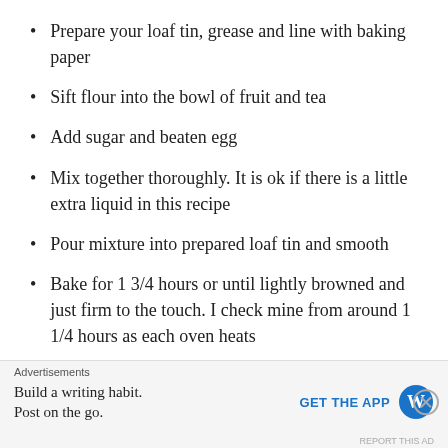Prepare your loaf tin, grease and line with baking paper
Sift flour into the bowl of fruit and tea
Add sugar and beaten egg
Mix together thoroughly. It is ok if there is a little extra liquid in this recipe
Pour mixture into prepared loaf tin and smooth
Bake for 1 3/4 hours or until lightly browned and just firm to the touch. I check mine from around 1 1/4 hours as each oven heats...
Advertisements
Build a writing habit. Post on the go. GET THE APP